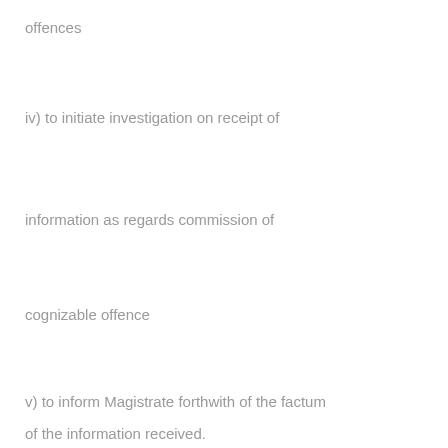offences
iv) to initiate investigation on receipt of
information as regards commission of
cognizable offence
v) to inform Magistrate forthwith of the factum
of the information received.